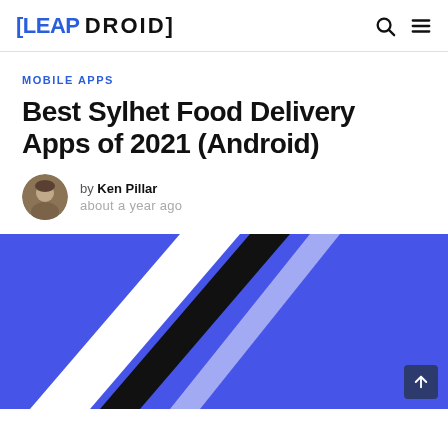[LEAP DROID]
MOBILE APPS
Best Sylhet Food Delivery Apps of 2021 (Android)
by Ken Pillar
about a year ago
[Figure (illustration): Hero image with blue background and diagonal black and white stripes, partially visible]